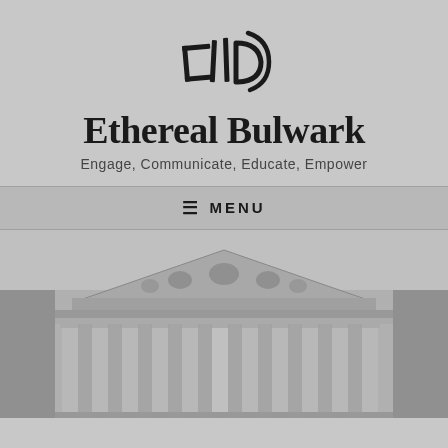[Figure (logo): Abstract hand-drawn logo mark resembling stylized letters or book shapes in dark ink]
Ethereal Bulwark
Engage, Communicate, Educate, Empower
≡ MENU
[Figure (photo): Black and white photograph of a neoclassical government building facade with large columns and a triangular pediment with sculptural relief]